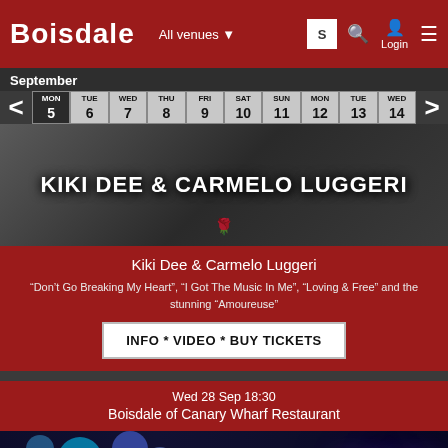BOISDALE — All venues — Login
September
| MON | TUE | WED | THU | FRI | SAT | SUN | MON | TUE | WED |
| --- | --- | --- | --- | --- | --- | --- | --- | --- | --- |
| 5 | 6 | 7 | 8 | 9 | 10 | 11 | 12 | 13 | 14 |
[Figure (photo): Kiki Dee & Carmelo Luggeri event banner with dark background and text overlay]
Kiki Dee & Carmelo Luggeri
“Don’t Go Breaking My Heart”, “I Got The Music In Me”, “Loving & Free” and the stunning “Amoureuse”
INFO * VIDEO * BUY TICKETS
Wed 28 Sep 18:30
Boisdale of Canary Wharf Restaurant
[Figure (photo): Stage lights and Boisdale logo sign in blue/purple neon]